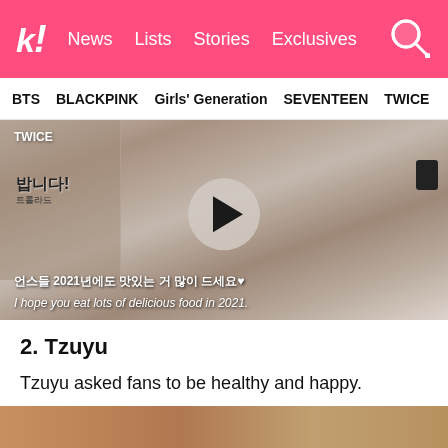k! News Lists Stories Exclusives
BTS BLACKPINK Girls' Generation SEVENTEEN TWICE
[Figure (screenshot): Video thumbnail showing a young woman in white with hands raised, Korean subtitle and English subtitle 'I hope you eat lots of delicious food in 2021.' with a play button overlay. TWICE logo top-left.]
2. Tzuyu
Tzuyu asked fans to be healthy and happy.
[Figure (photo): Partial bottom image strip showing a warm-toned photo, partially visible.]